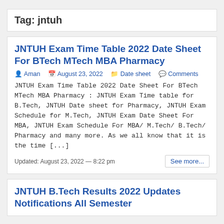Tag: jntuh
JNTUH Exam Time Table 2022 Date Sheet For BTech MTech MBA Pharmacy
Aman   August 23, 2022   Date sheet   Comments
JNTUH Exam Time Table 2022 Date Sheet For BTech MTech MBA Pharmacy : JNTUH Exam Time table for B.Tech, JNTUH Date sheet for Pharmacy, JNTUH Exam Schedule for M.Tech, JNTUH Exam Date Sheet For MBA, JNTUH Exam Schedule For MBA/ M.Tech/ B.Tech/ Pharmacy and many more. As we all know that it is the time [...]
Updated: August 23, 2022 — 8:22 pm
JNTUH B.Tech Results 2022 Updates Notifications All Semester